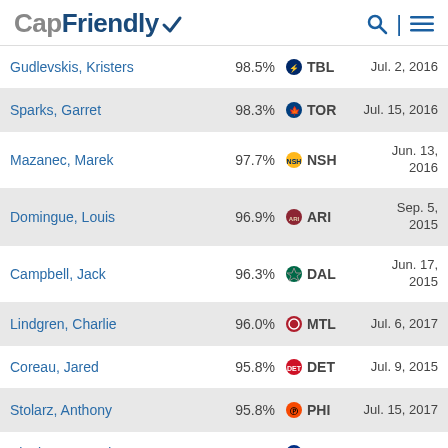CapFriendly
| Name | Pct | Team | Date |
| --- | --- | --- | --- |
| Gudlevskis, Kristers | 98.5% | TBL | Jul. 2, 2016 |
| Sparks, Garret | 98.3% | TOR | Jul. 15, 2016 |
| Mazanec, Marek | 97.7% | NSH | Jun. 13, 2016 |
| Domingue, Louis | 96.9% | ARI | Sep. 5, 2015 |
| Campbell, Jack | 96.3% | DAL | Jun. 17, 2015 |
| Lindgren, Charlie | 96.0% | MTL | Jul. 6, 2017 |
| Coreau, Jared | 95.8% | DET | Jul. 9, 2015 |
| Stolarz, Anthony | 95.8% | PHI | Jul. 15, 2017 |
| Binnington, Jordan | 95.5% | STL | Jul. 21, 2017 |
| Langhamer, Marek | 95.5% | ARI | Jul. 24, 2017 |
| Gillies, Jon | 95.4% | CGY | Jul. 22, 2017 |
| Boyle, Kevin | 95.3% | ANA | Jun. 28, 2017 |